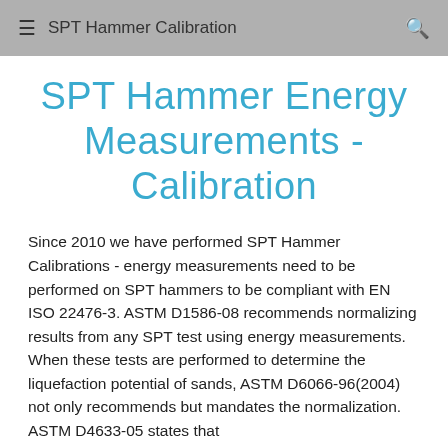SPT Hammer Calibration
SPT Hammer Energy Measurements - Calibration
Since 2010 we have performed SPT Hammer Calibrations - energy measurements need to be performed on SPT hammers to be compliant with EN ISO 22476-3. ASTM D1586-08 recommends normalizing results from any SPT test using energy measurements. When these tests are performed to determine the liquefaction potential of sands, ASTM D6066-96(2004) not only recommends but mandates the normalization. ASTM D4633-05 states that